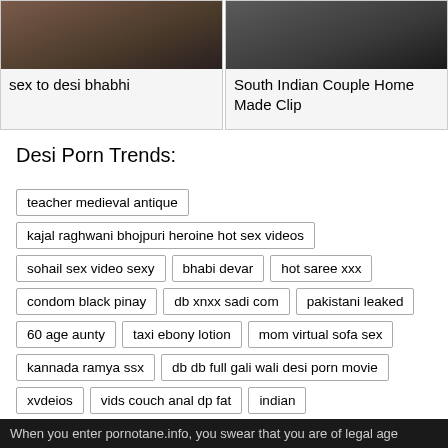[Figure (photo): Thumbnail image top-left - dark toned photo]
sex to desi bhabhi
[Figure (photo): Thumbnail image top-right - dark toned photo]
South Indian Couple Home Made Clip
Desi Porn Trends:
teacher medieval antique
kajal raghwani bhojpuri heroine hot sex videos
sohail sex video sexy
bhabi devar
hot saree xxx
condom black pinay
db xnxx sadi com
pakistani leaked
60 age aunty
taxi ebony lotion
mom virtual sofa sex
kannada ramya ssx
db db full gali wali desi porn movie
xvdeios
vids couch anal dp fat
indian
When you enter pornotane.info, you swear that you are of legal age